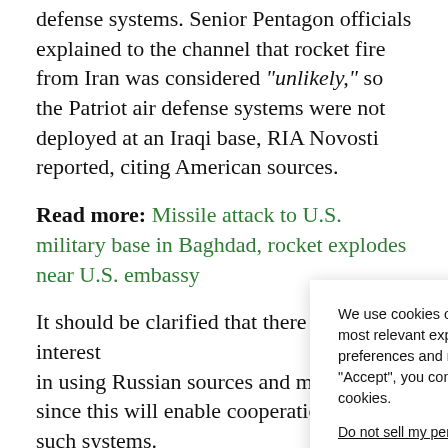defense systems. Senior Pentagon officials explained to the channel that rocket fire from Iran was considered "unlikely," so the Patriot air defense systems were not deployed at an Iraqi base, RIA Novosti reported, citing American sources.
Read more: Missile attack to U.S. military base in Baghdad, rocket explodes near U.S. embassy
It should be clarified that there is no interest in using Russian... since this will enable... such systems.
Follow us every... BulgarianMilit... you can open t... devices or web browsers. For more up-to-date news
We use cookies on our website to give you the most relevant experience by remembering your preferences and repeat visits. By clicking “Accept”, you consent to the use of ALL the cookies. Do not sell my personal information.